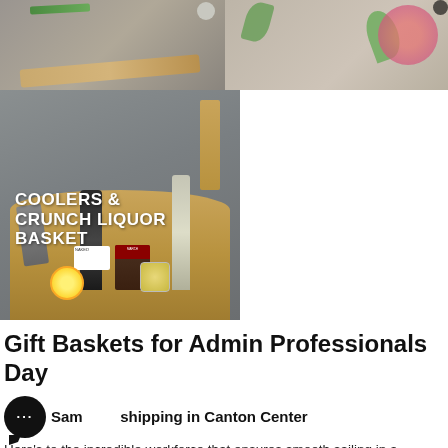[Figure (photo): Two product photos at top: left shows a wooden cutting board on gray surface, right shows flowers/plants on gray background]
[Figure (photo): Product photo of Coolers & Crunch Liquor Basket showing bottles, snacks, jars, lemon, and wooden board on gray background with white overlay text]
Gift Baskets for Admin Professionals Day
Same day shipping in Canton Center
Here's to the incredible workforce that ensures smooth sailing in a workplace! The best way to appreciate the hard work and